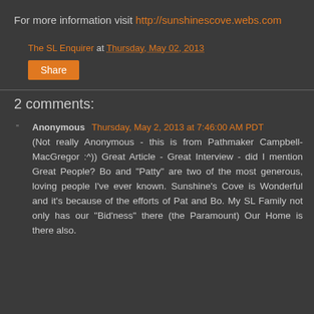For more information visit http://sunshinescove.webs.com
The SL Enquirer at Thursday, May 02, 2013
Share
2 comments:
Anonymous Thursday, May 2, 2013 at 7:46:00 AM PDT
(Not really Anonymous - this is from Pathmaker Campbell-MacGregor :^)) Great Article - Great Interview - did I mention Great People? Bo and "Patty" are two of the most generous, loving people I've ever known. Sunshine's Cove is Wonderful and it's because of the efforts of Pat and Bo. My SL Family not only has our "Bid'ness" there (the Paramount) Our Home is there also.